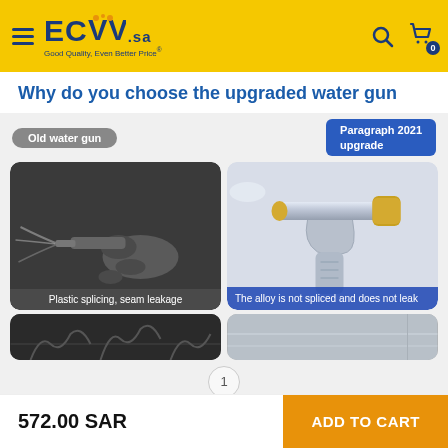ECVV .sa — Good Quality, Even Better Price!
Why do you choose the upgraded water gun
[Figure (photo): Comparison of old water gun (black and white, plastic, with water spraying) labeled 'Old water gun' and 'Plastic splicing, seam leakage' versus new upgraded water gun (chrome/gold alloy pistol) labeled 'Paragraph 2021 upgrade' and 'The alloy is not spliced and does not leak'. A second row shows partial images of roots/grass (old) and a smooth surface (new).]
1
572.00 SAR
ADD TO CART